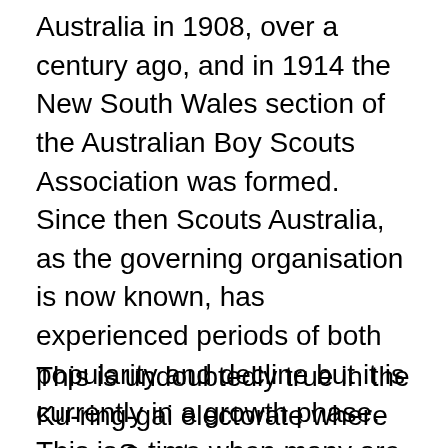Australia in 1908, over a century ago, and in 1914 the New South Wales section of the Australian Boy Scouts Association was formed. Since then Scouts Australia, as the governing organisation is now known, has experienced periods of both popularity and decline but it is currently in a growth phase. This is a time when many are seeking a greater sense of community and a break from the pressures of school and modern living. The scouting movement today has around 66,000 members and continues to demonstrate its relevance to the needs of young people.
This is undoubtedly true in the Ku-ring-gai electorate where seven Scout groups are